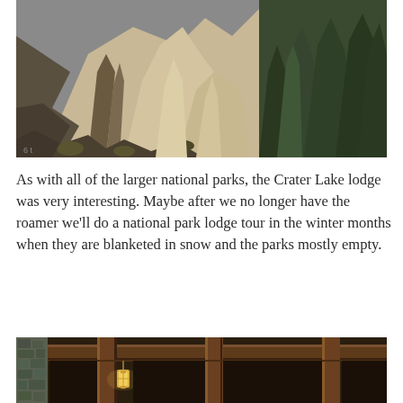[Figure (photo): Aerial or elevated view of eroded sandy/volcanic rock formations and pinnacles with dense evergreen forest (pine/fir trees) on the right side. The landscape shows light tan/beige erosion channels and dark rocky outcroppings at Crater Lake National Park area.]
As with all of the larger national parks, the Crater Lake lodge was very interesting. Maybe after we no longer have the roamer we'll do a national park lodge tour in the winter months when they are blanketed in snow and the parks mostly empty.
[Figure (photo): Interior of the Crater Lake Lodge showing heavy wooden beam ceiling with hanging lantern-style pendant lights. Stone wall visible on the left side. Warm rustic lodge interior.]